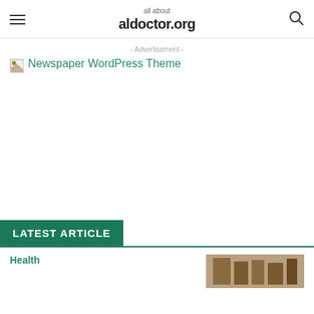all about aldoctor.org
- Advertisement -
[Figure (illustration): Broken image icon followed by 'Newspaper WordPress Theme' advertisement link text in teal color]
LATEST ARTICLE
Health